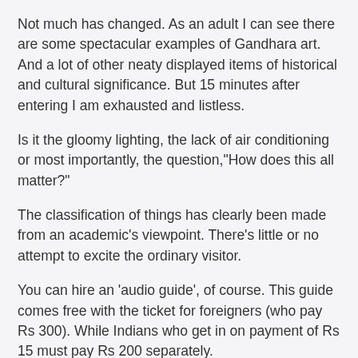Not much has changed. As an adult I can see there are some spectacular examples of Gandhara art. And a lot of other neaty displayed items of historical and cultural significance. But 15 minutes after entering I am exhausted and listless.
Is it the gloomy lighting, the lack of air conditioning or most importantly, the question,"How does this all matter?"
The classification of things has clearly been made from an academic's viewpoint. There's little or no attempt to excite the ordinary visitor.
You can hire an 'audio guide', of course. This guide comes free with the ticket for foreigners (who pay Rs 300). While Indians who get in on payment of Rs 15 must pay Rs 200 separately.
But that's besides the point.
All great museums are places which showcase the past, but